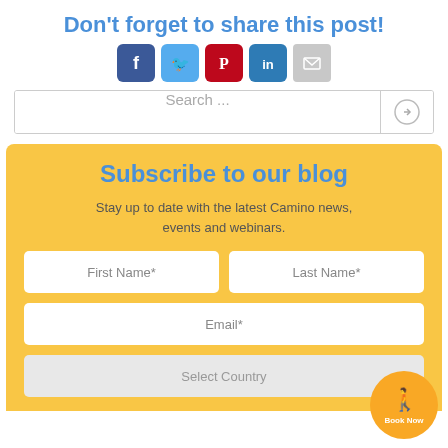Don't forget to share this post!
[Figure (infographic): Social media share icons: Facebook (blue), Twitter (light blue), Pinterest (red), LinkedIn (dark blue/teal), Email (grey)]
[Figure (screenshot): Search bar with placeholder text 'Search ...' and a right-arrow button on the right side]
Subscribe to our blog
Stay up to date with the latest Camino news, events and webinars.
First Name*
Last Name*
Email*
Select Country